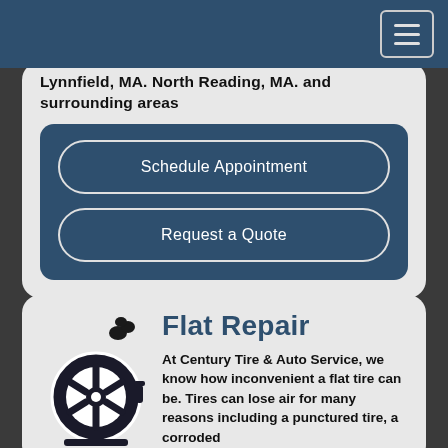Lynnfield, MA. North Reading, MA. and surrounding areas
Schedule Appointment
Request a Quote
Flat Repair
At Century Tire & Auto Service, we know how inconvenient a flat tire can be. Tires can lose air for many reasons including a punctured tire, a corroded
[Figure (illustration): Black and white icon of a car tire/wheel with a valve stem]